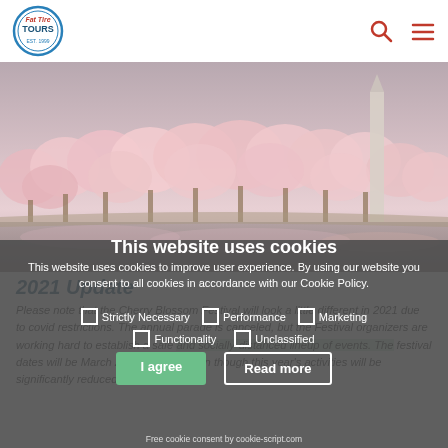Fat Tire Tours
[Figure (photo): Cherry blossom trees along the Tidal Basin in Washington DC with the Washington Monument visible in the background]
This website uses cookies
This website uses cookies to improve user experience. By using our website you consent to all cookies in accordance with our Cookie Policy.
2021 Update
Please note that the Cherry Blossom Festival will look a little different in 2021 due to covid restrictions. The annual parade is canceled, but the Festival organizers are working hard to establish a safe and socially-distanced lineup of events. The festival dates will be March 20 to April 11, even though this year's activities will be significantly reduced.